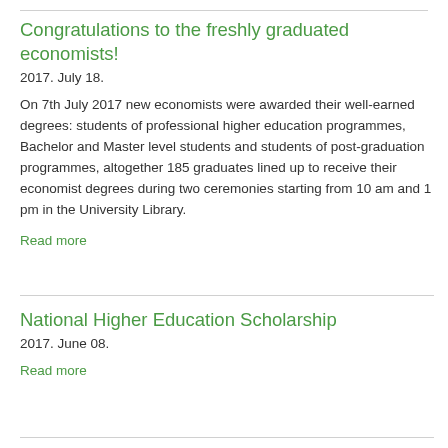Congratulations to the freshly graduated economists!
2017. July 18.
On 7th July 2017 new economists were awarded their well-earned degrees: students of professional higher education programmes, Bachelor and Master level students and students of post-graduation programmes, altogether 185 graduates lined up to receive their economist degrees during two ceremonies starting from 10 am and 1 pm in the University Library.
Read more
National Higher Education Scholarship
2017. June 08.
Read more